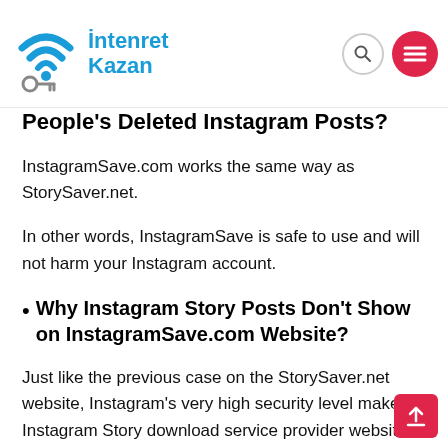İntenret Kazan
People's Deleted Instagram Posts?
InstagramSave.com works the same way as StorySaver.net.
In other words, InstagramSave is safe to use and will not harm your Instagram account.
Why Instagram Story Posts Don't Show on InstagramSave.com Website?
Just like the previous case on the StorySaver.net website, Instagram's very high security level makes Instagram Story download service provider websites including